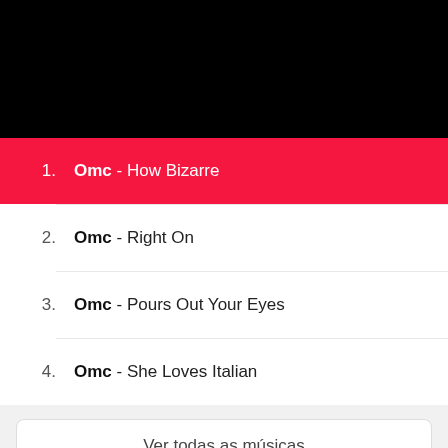[Figure (other): Black banner area at the top of the page]
1. Omc - How Bizarre
2. Omc - Right On
3. Omc - Pours Out Your Eyes
4. Omc - She Loves Italian
Ver todas as músicas
[Figure (other): Gray banner area at the bottom of the page]